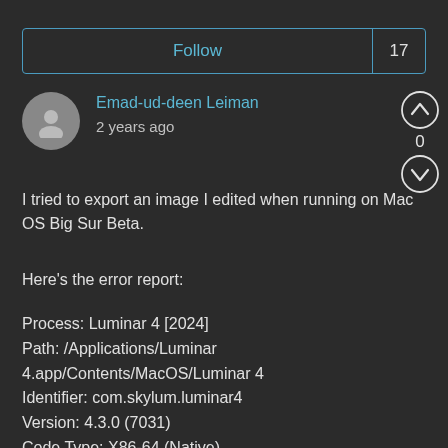Follow  17
Emad-ud-deen Leiman
2 years ago
I tried to export an image I edited when running on Mac OS Big Sur Beta.
Here's the error report:
Process: Luminar 4 [2024]
Path: /Applications/Luminar 4.app/Contents/MacOS/Luminar 4
Identifier: com.skylum.luminar4
Version: 4.3.0 (7031)
Code Type: X86-64 (Native)
Parent Process: ??? [1]
Responsible: Luminar 4 [2024]